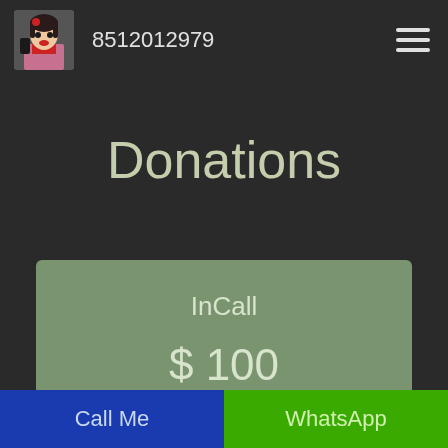[Figure (photo): Woman holding a phone, pin-up style photo used as avatar/logo]
8512012979
[Figure (other): Hamburger menu icon (three horizontal lines)]
Donations
InCall
$ 100
Call Me
WhatsApp